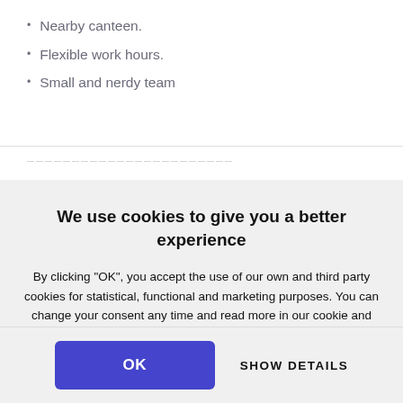Nearby canteen.
Flexible work hours.
Small and nerdy team
We use cookies to give you a better experience
By clicking "OK", you accept the use of our own and third party cookies for statistical, functional and marketing purposes. You can change your consent any time and read more in our cookie and privacy policy
Only the necessary cookies
OK
SHOW DETAILS